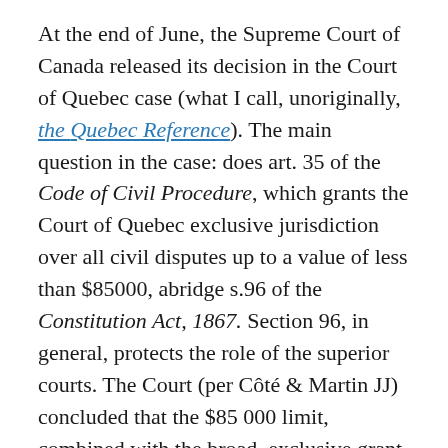At the end of June, the Supreme Court of Canada released its decision in the Court of Quebec case (what I call, unoriginally, the Quebec Reference). The main question in the case: does art. 35 of the Code of Civil Procedure, which grants the Court of Quebec exclusive jurisdiction over all civil disputes up to a value of less than $85000, abridge s.96 of the Constitution Act, 1867. Section 96, in general, protects the role of the superior courts. The Court (per Côté & Martin JJ) concluded that the $85 000 limit, combined with the broad, exclusive grant of power to the Court of Quebec over private law issues, did abridge s.96. Wagner CJ filed a partial dissent and Abella J filed a dissent.